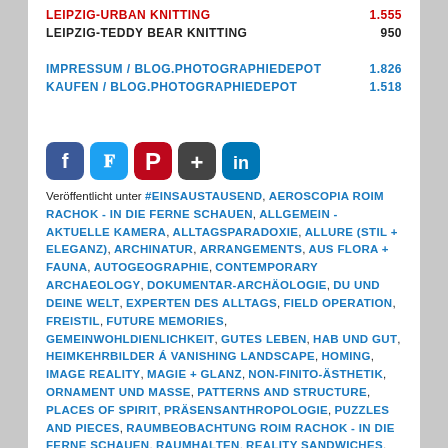LEIPZIG-URBAN KNITTING  1.555
LEIPZIG-TEDDY BEAR KNITTING  950
IMPRESSUM / blog.photographiedepot  1.826
KAUFEN / blog.photographiedepot  1.518
[Figure (infographic): Social media sharing icons: Facebook (blue), Twitter (cyan), Pinterest (red), Google+ (dark gray), LinkedIn (blue)]
Veröffentlicht unter #EINSAUSTAUSEND, AEROSCOPIA ROIM RACHOK - IN DIE FERNE SCHAUEN, ALLGEMEIN - AKTUELLE KAMERA, ALLTAGSPARADOXIE, ALLURE (STIL + ELEGANZ), ARCHINATUR, ARRANGEMENTS, AUS FLORA + FAUNA, AUTOGEOGRAPHIE, CONTEMPORARY ARCHAEOLOGY, DOKUMENTAR-ARCHÄOLOGIE, DU UND DEINE WELT, EXPERTEN DES ALLTAGS, FIELD OPERATION, FREISTIL, FUTURE MEMORIES, GEMEINWOHLDIENLICHKEIT, GUTES LEBEN, HAB UND GUT, HEIMKEHRBILDER Á VANISHING LANDSCAPE, HOMING, IMAGE REALITY, MAGIE + GLANZ, NON-FINITO-ÄSTHETIK, ORNAMENT UND MASSE, PATTERNS AND STRUCTURE, PLACES OF SPIRIT, PRÄSENSANTHROPOLOGIE, PUZZLES AND PIECES, RAUMBEOBACHTUNG ROIM RACHOK - IN DIE FERNE SCHAUEN, RAUMHALTEN, REALITY SANDWICHES, SCHAU-GENAU, SCHÖNES UND NÜTZLICHES, THEATRE OF THE ABSURD, UNSCHÄRFE,